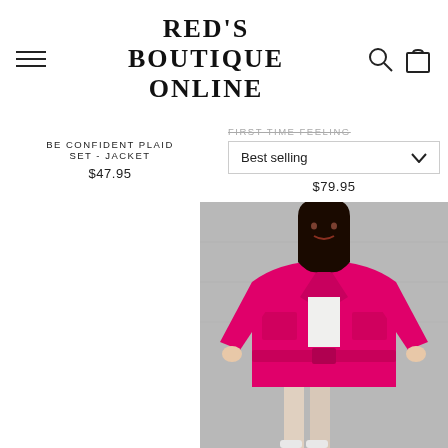RED'S BOUTIQUE ONLINE
BE CONFIDENT PLAID SET - JACKET
$47.95
FIRST TIME FEELING
$79.95
[Figure (photo): A woman wearing a hot pink belted blazer jacket set, standing against a concrete wall. The outfit consists of a bright pink oversized jacket with front pockets, belted at the waist, worn over a light-colored top.]